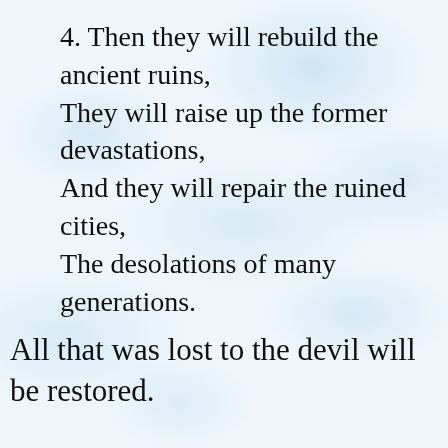4. Then they will rebuild the ancient ruins, They will raise up the former devastations, And they will repair the ruined cities, The desolations of many generations.
All that was lost to the devil will be restored.